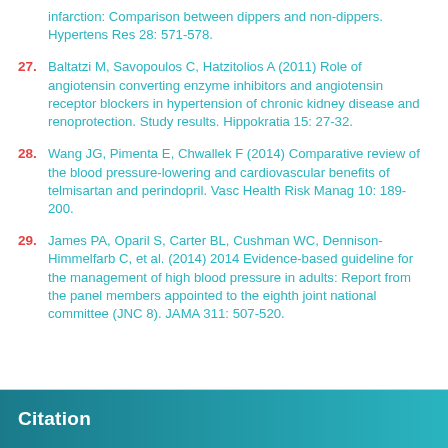27. Baltatzi M, Savopoulos C, Hatzitolios A (2011) Role of angiotensin converting enzyme inhibitors and angiotensin receptor blockers in hypertension of chronic kidney disease and renoprotection. Study results. Hippokratia 15: 27-32.
28. Wang JG, Pimenta E, Chwallek F (2014) Comparative review of the blood pressure-lowering and cardiovascular benefits of telmisartan and perindopril. Vasc Health Risk Manag 10: 189-200.
29. James PA, Oparil S, Carter BL, Cushman WC, Dennison-Himmelfarb C, et al. (2014) 2014 Evidence-based guideline for the management of high blood pressure in adults: Report from the panel members appointed to the eighth joint national committee (JNC 8). JAMA 311: 507-520.
Citation